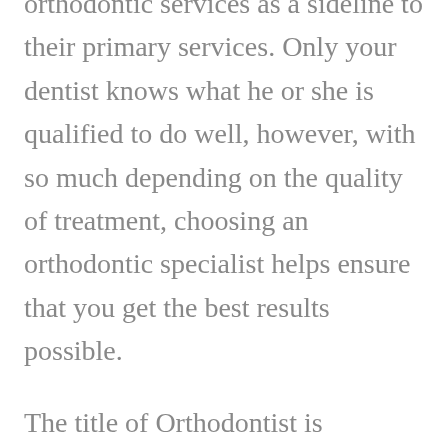orthodontic services as a sideline to their primary services. Only your dentist knows what he or she is qualified to do well, however, with so much depending on the quality of treatment, choosing an orthodontic specialist helps ensure that you get the best results possible.
The title of Orthodontist is reserved for only those specialists who have undergone two or more years of additional post-doctoral education from an accredited university. Only 6% of all general dentists pursue the rigorous